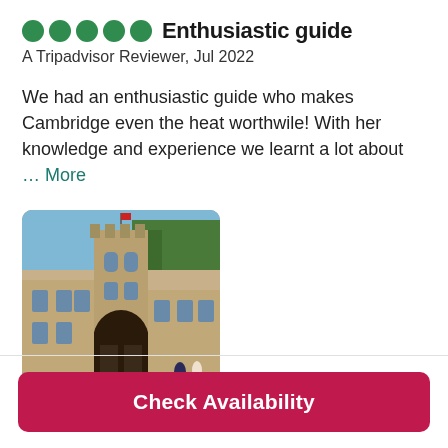Enthusiastic guide
A Tripadvisor Reviewer, Jul 2022
We had an enthusiastic guide who makes Cambridge even the heat worthwile! With her knowledge and experience we learnt a lot about … More
[Figure (photo): Photo of an old stone college gateway building in Cambridge with a tower, arched entrance, and green trees behind, with people walking in front]
Check Availability